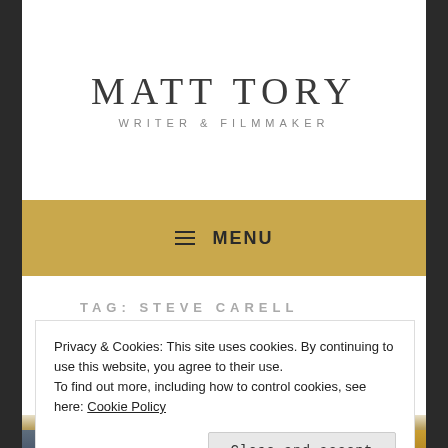MATT TORY
WRITER & FILMMAKER
≡ MENU
TAG: STEVE CARELL
Privacy & Cookies: This site uses cookies. By continuing to use this website, you agree to their use.
To find out more, including how to control cookies, see here: Cookie Policy
Close and accept